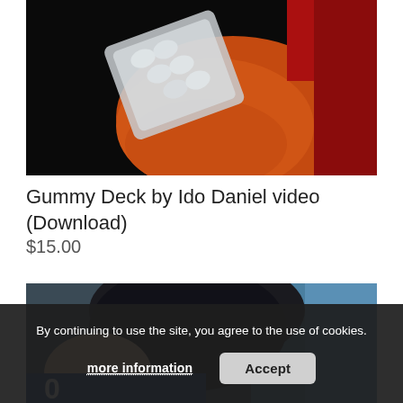[Figure (photo): A hand holding a blister pack of pills/cards against a dark background with red tones]
Gummy Deck by Ido Daniel video (Download)
$15.00
[Figure (photo): A person's head with dark hair, partial view of face, with blue background elements visible]
By continuing to use the site, you agree to the use of cookies.
more information
Accept